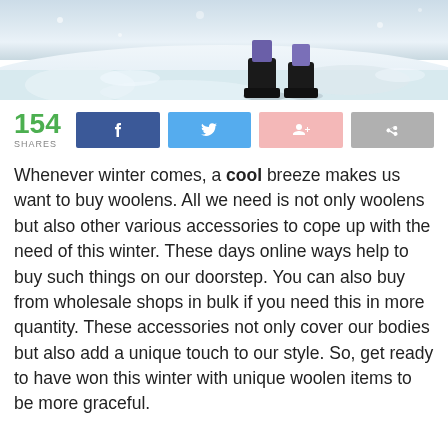[Figure (photo): Person walking in snow wearing black winter boots, snow-covered ground, winter scene photographed from behind/below]
154 SHARES
Whenever winter comes, a cool breeze makes us want to buy woolens. All we need is not only woolens but also other various accessories to cope up with the need of this winter. These days online ways help to buy such things on our doorstep. You can also buy from wholesale shops in bulk if you need this in more quantity. These accessories not only cover our bodies but also add a unique touch to our style. So, get ready to have won this winter with unique woolen items to be more graceful.